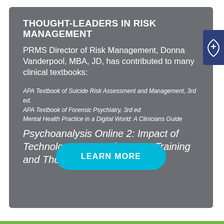THOUGHT-LEADERS IN RISK MANAGEMENT
PRMS Director of Risk Management, Donna Vanderpool, MBA, JD, has contributed to many clinical textbooks:
APA Textbook of Suicide Risk Assessment and Management, 3rd ed.
APA Textbook of Forensic Psychiatry, 3rd ed
Mental Health Practice in a Digital World: A Clinicians Guide
Psychoanalysis Online 2: Impact of Technology on Development, Training and Therapy
LEARN MORE